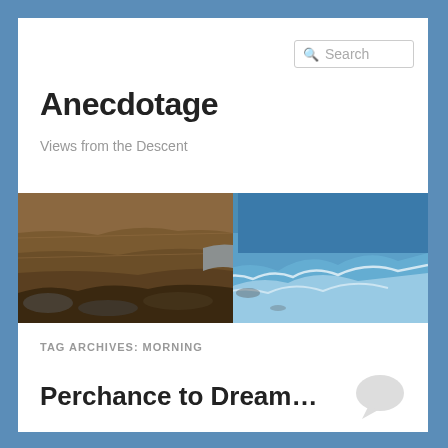Anecdotage
Views from the Descent
[Figure (photo): Coastal rocks and ocean waves with blue water and rugged rock formations]
TAG ARCHIVES: MORNING
Perchance to Dream…